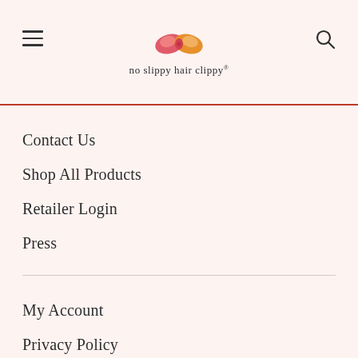[Figure (logo): No Slippy Hair Clippy logo with pink/orange bow graphic above the brand name text]
Contact Us
Shop All Products
Retailer Login
Press
My Account
Privacy Policy
Terms & Conditions
LOCATION